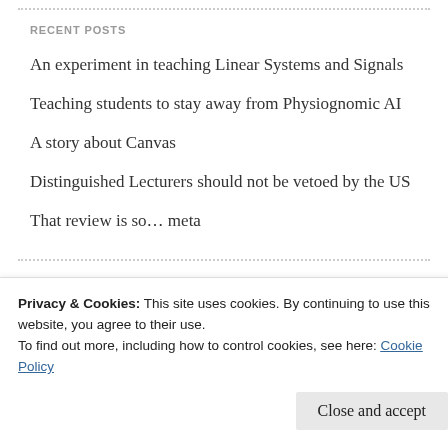RECENT POSTS
An experiment in teaching Linear Systems and Signals
Teaching students to stay away from Physiognomic AI
A story about Canvas
Distinguished Lecturers should not be vetoed by the US
That review is so… meta
RECENT COMMENTS
Privacy & Cookies: This site uses cookies. By continuing to use this website, you agree to their use.
To find out more, including how to control cookies, see here: Cookie Policy
Close and accept